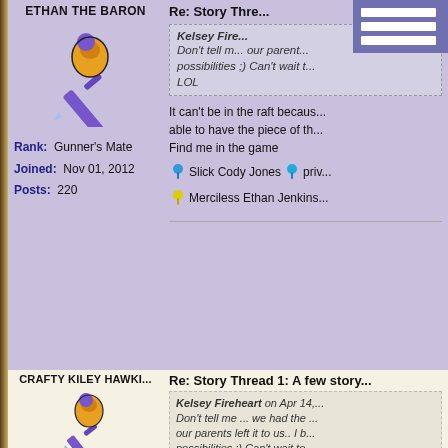ETHAN THE BARON
[Figure (illustration): Cartoon pirate character with purple sword and orange hat/flask]
Rank: Gunner's Mate
Joined: Nov 01, 2012
Posts: 220
Re: Story Thre...
Kelsey Fire... Don't tell m... our parent... possibilities ;) Can't wait t... LOL
It can't be in the raft becaus... able to have the piece of th... Find me in the game
Slick Cody Jones  priv...
Merciless Ethan Jenkins...
CRAFTY KILEY HAWKI...
[Figure (illustration): Cartoon pirate character with purple sword and orange hat/flask]
Rank: Ensign
Re: Story Thread 1: A few story...
Kelsey Fireheart on Apr 14,... Don't tell me ... we had the... our parents left it to us.. I b... possibilities ;) Can't wait to... LOL